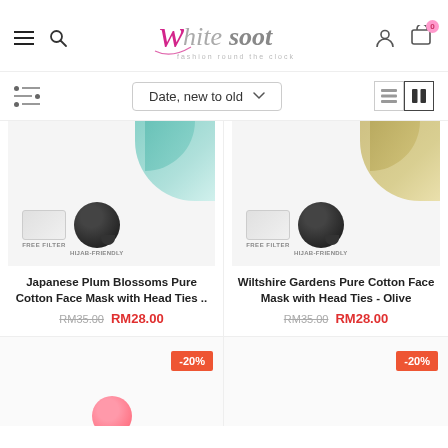[Figure (logo): Whitesoot fashion brand logo with italic script text 'whitesoot' and tagline 'fashion round the clock']
Date, new to old
[Figure (photo): Japanese Plum Blossoms Pure Cotton Face Mask with Head Ties product image showing teal background, free filter badge and hijab-friendly badge]
Japanese Plum Blossoms Pure Cotton Face Mask with Head Ties ..
RM35.00  RM28.00
[Figure (photo): Wiltshire Gardens Pure Cotton Face Mask with Head Ties - Olive product image showing gold/olive background, free filter badge and hijab-friendly badge]
Wiltshire Gardens Pure Cotton Face Mask with Head Ties - Olive
RM35.00  RM28.00
-20%
-20%